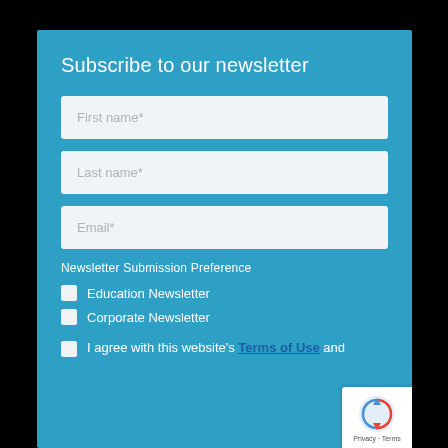Subscribe to our newsletter
First name*
Last name*
Email*
Newsletter Submission Preference
Education Newsletter
Corporate Newsletter
I agree with this website's Terms of Use and